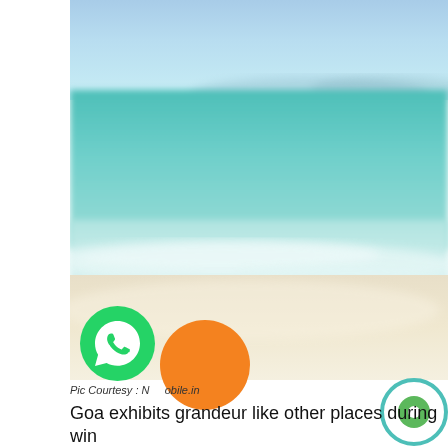[Figure (photo): Blurred beach photo showing turquoise ocean water, white waves, and sandy shore under a blue sky. Social media sharing buttons overlay the bottom-left of the image (WhatsApp green icon and an orange circle button). A small teal/green circular icon appears at bottom right.]
Pic Courtesy : Namobile.in
Goa exhibits grandeur like other places during win